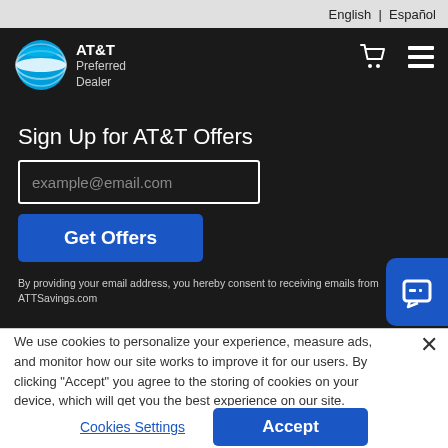English | Español
[Figure (logo): AT&T globe logo with text 'AT&T Preferred Dealer']
Sign Up for AT&T Offers
example@email.com
Get Offers
By providing your email address, you hereby consent to receiving emails from ATTSavings.com
We use cookies to personalize your experience, measure ads, and monitor how our site works to improve it for our users. By clicking "Accept" you agree to the storing of cookies on your device, which will get you the best experience on our site.
Cookies Settings
Accept